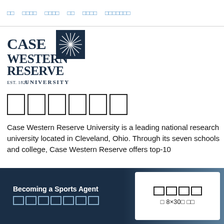□□  □□□□  □□□□  □□  □□□□  □□□□□□□
[Figure (logo): Case Western Reserve University logo — navy blue text with stylized sunburst icon in a dark blue square. Text reads CASE WESTERN RESERVE EST. 1826 UNIVERSITY]
□□□□□□
Case Western Reserve University is a leading national research university located in Cleveland, Ohio. Through its seven schools and college, Case Western Reserve offers top-10
□□□□ (read more link)
Becoming a Sports Agent
□□□□□□□
□□□□
□ 8×30□ □□